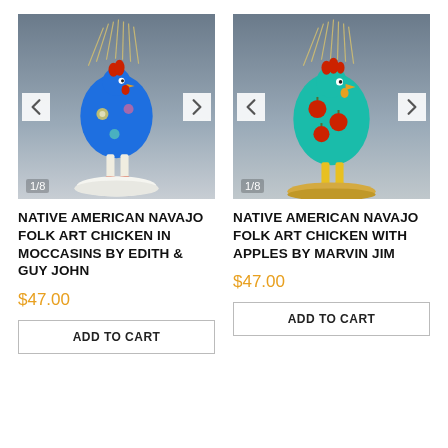[Figure (photo): Native American Navajo folk art chicken figurine in moccasins, blue body with decorative patterns, standing on white base with dried grass/wheat stalks on top. Image counter shows 1/8.]
NATIVE AMERICAN NAVAJO FOLK ART CHICKEN IN MOCCASINS BY EDITH & GUY JOHN
$47.00
ADD TO CART
[Figure (photo): Native American Navajo folk art chicken figurine with apples, teal/turquoise body with red apple decorations, yellow legs, red crest, standing on gold base with dried grass/wheat stalks on top. Image counter shows 1/8.]
NATIVE AMERICAN NAVAJO FOLK ART CHICKEN WITH APPLES BY MARVIN JIM
$47.00
ADD TO CART